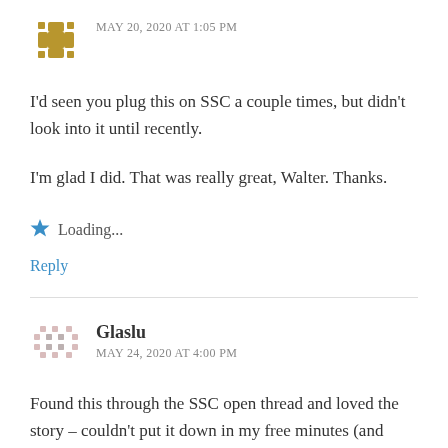[Figure (illustration): Golden/brown decorative avatar icon with cross-like pattern]
MAY 20, 2020 AT 1:05 PM
I'd seen you plug this on SSC a couple times, but didn't look into it until recently.

I'm glad I did. That was really great, Walter. Thanks.
Loading...
Reply
[Figure (illustration): Pink/gray dotted pixel-art style avatar icon]
Glaslu
MAY 24, 2020 AT 4:00 PM
Found this through the SSC open thread and loved the story – couldn't put it down in my free minutes (and other not free minutes WFH :)) Thanks for